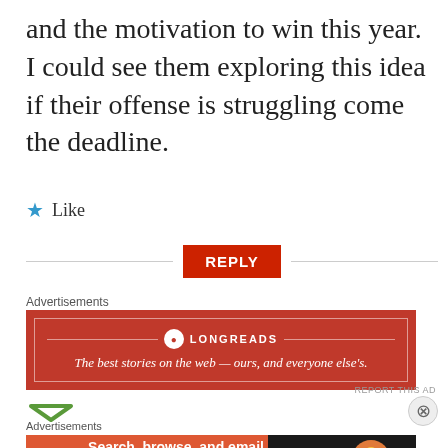and the motivation to win this year. I could see them exploring this idea if their offense is struggling come the deadline.
★ Like
REPLY
Advertisements
[Figure (other): Longreads advertisement: red background with Longreads logo and tagline 'The best stories on the web — ours, and everyone else's.']
REPORT THIS AD
Advertisements
[Figure (other): DuckDuckGo advertisement: 'Search, browse, and email with more privacy. All in One Free App' with DuckDuckGo logo on dark right panel.]